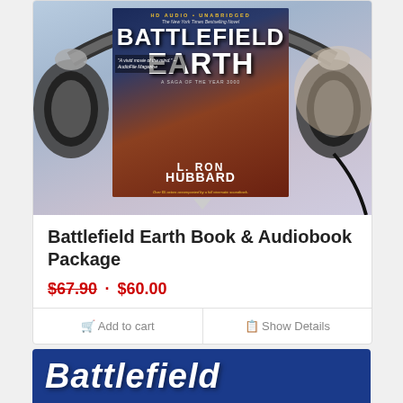[Figure (photo): Battlefield Earth audiobook cover with headphones — shows book cover art with L. Ron Hubbard author name, two fighting figures, and text 'HD Audio • Unabridged', 'A vivid movie of the mind – AudioFile Magazine', 'Over 65 actors accompanied by a full cinematic soundtrack']
Battlefield Earth Book & Audiobook Package
$67.90 · $60.00
Add to cart   Show Details
[Figure (photo): Bottom of a second product card showing blue background with white bold italic text 'Battlefield' (partially visible)]